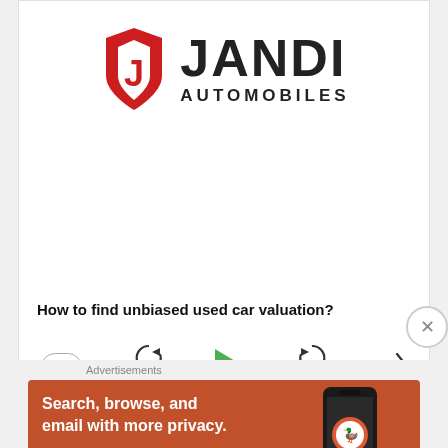[Figure (logo): JANDI Automobiles logo with red stylized J shield and bold black text JANDI AUTOMOBILES]
How to find unbiased used car valuation?
[Figure (screenshot): Podcast player controls: speed 1x, rewind 10, play button (green), forward 30, share icon]
[Figure (screenshot): DuckDuckGo advertisement banner: Search, browse, and email with more privacy. All in One Free App. Shows phone with DuckDuckGo logo.]